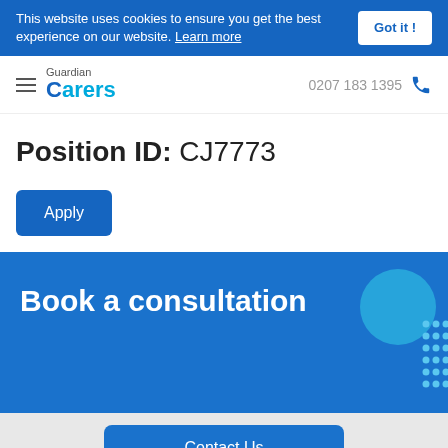This website uses cookies to ensure you get the best experience on our website. Learn more
Guardian Carers | 0207 183 1395
Position ID: CJ7773
Apply
Book a consultation
Contact Us